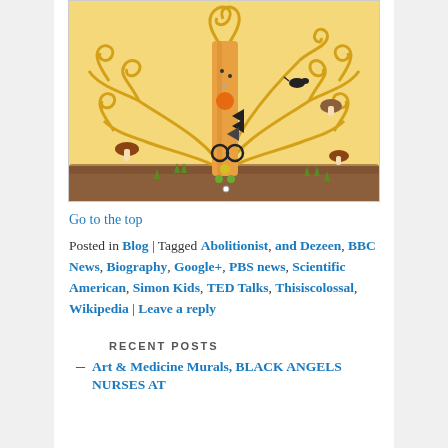[Figure (illustration): Decorative artwork resembling Klimt's Tree of Life style with swirling golden branches, mushrooms, colorful beads/circles on the trunk, small black bird, and earthy brown ground at bottom.]
Go to the top
Posted in Blog | Tagged Abolitionist, and Dezeen, BBC News, Biography, Google+, PBS news, Scientific American, Simon Kids, TED Talks, Thisiscolossal, Wikipedia | Leave a reply
RECENT POSTS
Art & Medicine Murals, BLACK ANGELS NURSES AT